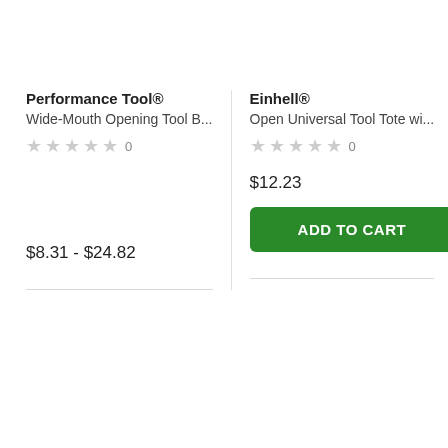Performance Tool®
Wide-Mouth Opening Tool B...
★★★★★ 0
$8.31 - $24.82
Einhell®
Open Universal Tool Tote wi...
★★★★★ 0
$12.23
ADD TO CART